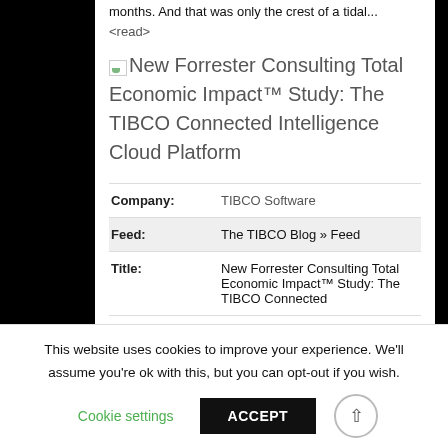months. And that was only the crest of a tidal... <read>
[Figure (illustration): Broken image icon placeholder for article thumbnail]
New Forrester Consulting Total Economic Impact™ Study: The TIBCO Connected Intelligence Cloud Platform
|  |  |
| --- | --- |
| Company: | TIBCO Software |
| Feed: | The TIBCO Blog » Feed |
| Title: | New Forrester Consulting Total Economic Impact™ Study: The TIBCO Connected |
This website uses cookies to improve your experience. We'll assume you're ok with this, but you can opt-out if you wish.
Cookie settings   ACCEPT